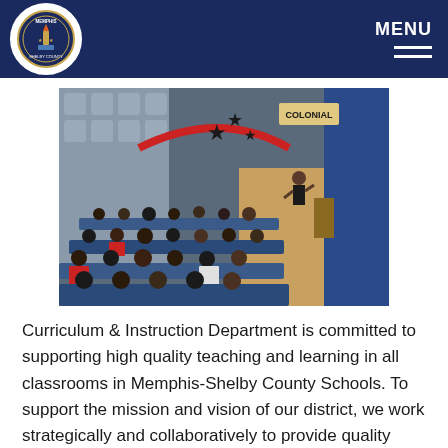Memphis-Shelby County Schools — MENU
[Figure (photo): Students seated in auditorium chairs facing a speaker/presenter on a stage. The auditorium has blue curtains, a 'Colonial' sign, and star decorations on the wall. A large group of school children are watching the presenter who is standing at the front.]
Curriculum & Instruction Department is committed to supporting high quality teaching and learning in all classrooms in Memphis-Shelby County Schools. To support the mission and vision of our district, we work strategically and collaboratively to provide quality curricular resources and support. Using these curricular resources and support, schools can ensure every student has the opportunity to engage in standards-